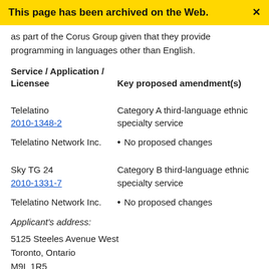This page has been archived on the Web.
as part of the Corus Group given that they provide programming in languages other than English.
| Service / Application / Licensee | Key proposed amendment(s) |
| --- | --- |
| Telelatino
2010-1348-2 | Category A third-language ethnic specialty service |
| Telelatino Network Inc. | No proposed changes |
| Sky TG 24
2010-1331-7 | Category B third-language ethnic specialty service |
| Telelatino Network Inc. | No proposed changes |
Applicant's address:
5125 Steeles Avenue West
Toronto, Ontario
M9L 1R5